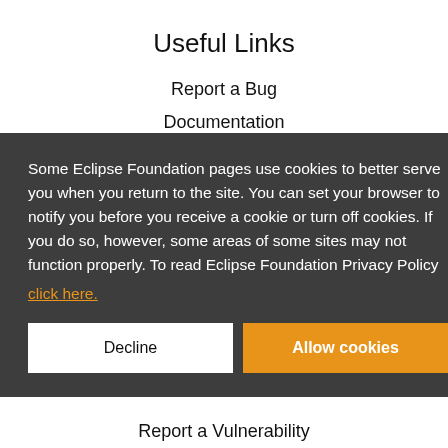Useful Links
Report a Bug
Documentation
Some Eclipse Foundation pages use cookies to better serve you when you return to the site. You can set your browser to notify you before you receive a cookie or turn off cookies. If you do so, however, some areas of some sites may not function properly. To read Eclipse Foundation Privacy Policy click here.
Report a Vulnerability